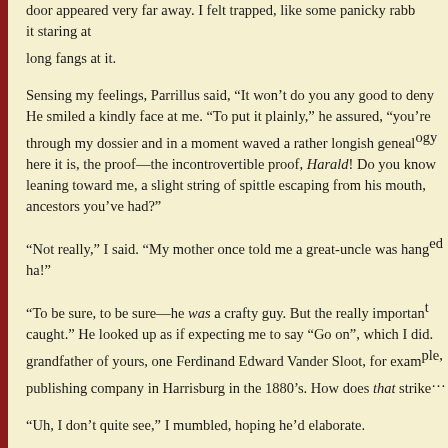door appeared very far away. I felt trapped, like some panicky rabbit staring at long fangs at it.
Sensing my feelings, Parrillus said, “It won’t do you any good to deny it.” He smiled a kindly face at me. “To put it plainly,” he assured, “you’re going…” through my dossier and in a moment waved a rather longish genealogy chart. “So here it is, the proof—the incontrovertible proof, Harald! Do you know…” leaning toward me, a slight string of spittle escaping from his mouth, “how many ancestors you’ve had?”
“Not really,” I said. “My mother once told me a great-uncle was hanged…” ha!”
“To be sure, to be sure—he was a crafty guy. But the really important one was caught.” He looked up as if expecting me to say “Go on”, which I did. “Your great-grandfather of yours, one Ferdinand Edward Vander Sloot, for example, owned a publishing company in Harrisburg in the 1880’s. How does that strike you?”
“Uh, I don’t quite see,” I mumbled, hoping he’d elaborate.
“Harald, Harald, you should be quicker than that!” He paused, cueing me… I didn’t, he said, “It’s simple as pie, my good fellow: Propaganda.”
“Propaganda?”
“Certainly. Just think of it: printing and disseminating hundreds of the…